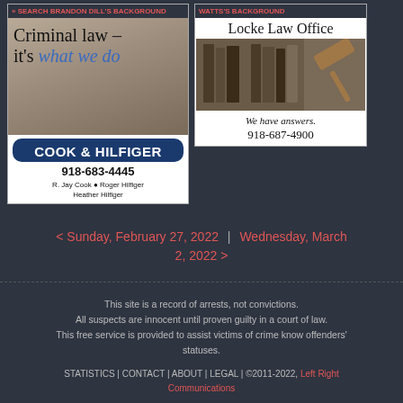[Figure (illustration): Cook & Hilfiger criminal law advertisement with background image showing law books, blue button with firm name, phone number 918-683-4445, and attorney names R. Jay Cook, Roger Hilfiger, Heather Hilfiger. Link text: SEARCH BRANDON DILL'S BACKGROUND]
[Figure (illustration): Locke Law Office advertisement showing logo, law books image with gavel, tagline 'We have answers.' and phone number 918-687-4900. Link text at top (cut off): WATTS'S BACKGROUND]
< Sunday, February 27, 2022  |  Wednesday, March 2, 2022 >
This site is a record of arrests, not convictions.
All suspects are innocent until proven guilty in a court of law.
This free service is provided to assist victims of crime know offenders' statuses.
STATISTICS | CONTACT | ABOUT | LEGAL | ©2011-2022, Left Right Communications